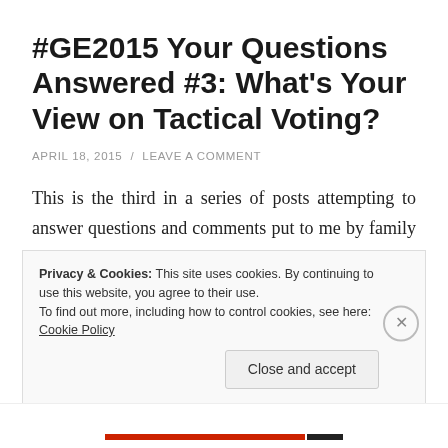#GE2015 Your Questions Answered #3: What's Your View on Tactical Voting?
APRIL 18, 2015  /  LEAVE A COMMENT
This is the third in a series of posts attempting to answer questions and comments put to me by family and friends around the General Election. This time round, the issue is tactical voting. The specific question put to me was as follows:
Privacy & Cookies: This site uses cookies. By continuing to use this website, you agree to their use.
To find out more, including how to control cookies, see here: Cookie Policy
Close and accept